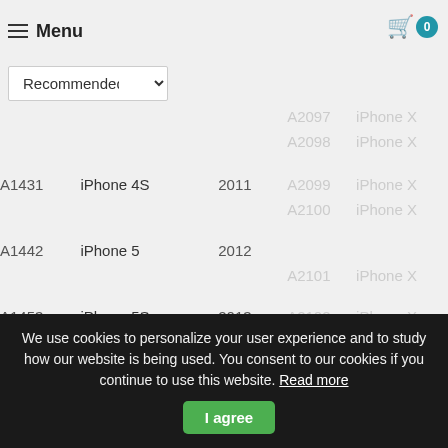Menu | Cart: 0
| Model | Name | Year | Model | Name |
| --- | --- | --- | --- | --- |
| A1387 | iPhone 4S | 2011 | A1921 | iPhone X |
| A1428 | iPhone 5 | 2012 |  |  |
| A |  |  | A2097 | iPhone X |
|  |  |  | A2098 | iPhone X |
| A1431 | iPhone 4S | 2011 | A2099 | iPhone X |
|  |  |  | A2100 | iPhone X |
| A1442 | iPhone 5 | 2012 |  |  |
|  |  |  | A2101 | iPhone X |
| A1453 | iPhone 5S | 2013 | A2102 | iPhone X |
|  |  |  | A2103 | iPhone X |
| A1456 | iPhone 5C | 2013 |  |  |
|  |  |  | A2105 | iPhone X |
| A1457 | iPhone 5S | 2013 | A2106 | iPhone X |
| A1518 | iPhone 5S | 2013 | A2107 | iPhone X |
|  |  |  | A2108 | iPhone X |
| A1522 | iPhone 6 Plus | 2014 |  |  |
| A1524 | iPhone 6 Plus | 2014 | A2111 | iPhone 1 |
| A1528 | iPhone 5S | 2013 | A2160 | iPhone 1 |
We use cookies to personalize your user experience and to study how our website is being used. You consent to our cookies if you continue to use this website. Read more | I agree